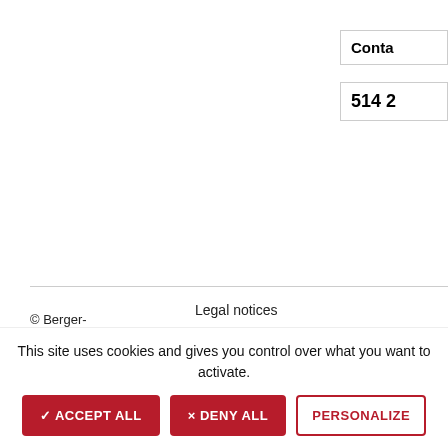Conta
514 2
© Berger-Levrault 2022
Legal notices
Help and accessibility
Sitemap
Cookies
This site uses cookies and gives you control over what you want to activate.
✓ ACCEPT ALL
× DENY ALL
PERSONALIZE